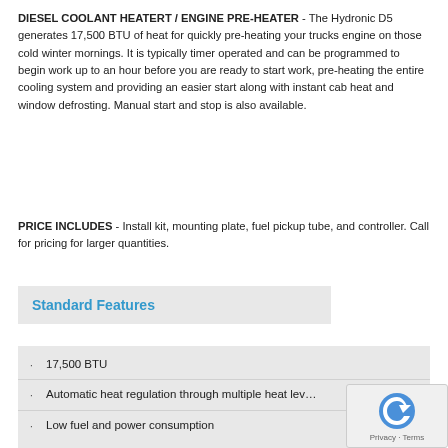DIESEL COOLANT HEATERT / ENGINE PRE-HEATER - The Hydronic D5 generates 17,500 BTU of heat for quickly pre-heating your trucks engine on those cold winter mornings. It is typically timer operated and can be programmed to begin work up to an hour before you are ready to start work, pre-heating the entire cooling system and providing an easier start along with instant cab heat and window defrosting. Manual start and stop is also available.
PRICE INCLUDES - Install kit, mounting plate, fuel pickup tube, and controller. Call for pricing for larger quantities.
Standard Features
17,500 BTU
Automatic heat regulation through multiple heat levels
Low fuel and power consumption